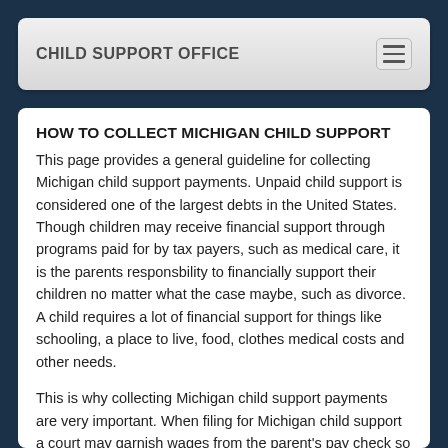CHILD SUPPORT OFFICE
HOW TO COLLECT MICHIGAN CHILD SUPPORT
This page provides a general guideline for collecting Michigan child support payments. Unpaid child support is considered one of the largest debts in the United States. Though children may receive financial support through programs paid for by tax payers, such as medical care, it is the parents responsbility to financially support their children no matter what the case maybe, such as divorce. A child requires a lot of financial support for things like schooling, a place to live, food, clothes medical costs and other needs.
This is why collecting Michigan child support payments are very important. When filing for Michigan child support a court may garnish wages from the parent's pay check so that they can't give a reason for missing a payment. The problem is some parent's will attempt to skip paying by quitting their job or move from job to job to avoid a garnishment, making it very hard to track them down. Even unemployment payments can be used